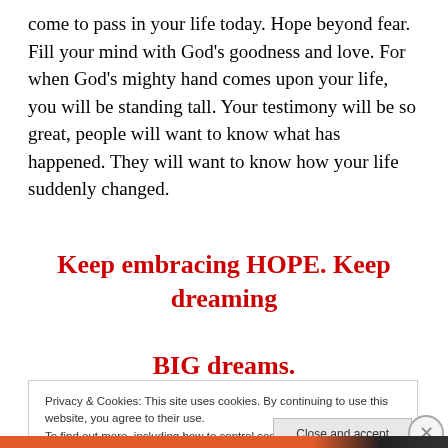come to pass in your life today. Hope beyond fear. Fill your mind with God's goodness and love. For when God's mighty hand comes upon your life, you will be standing tall. Your testimony will be so great, people will want to know what has happened. They will want to know how your life suddenly changed.
Keep embracing HOPE. Keep dreaming BIG dreams.
Privacy & Cookies: This site uses cookies. By continuing to use this website, you agree to their use.
To find out more, including how to control cookies, see here: Cookie Policy